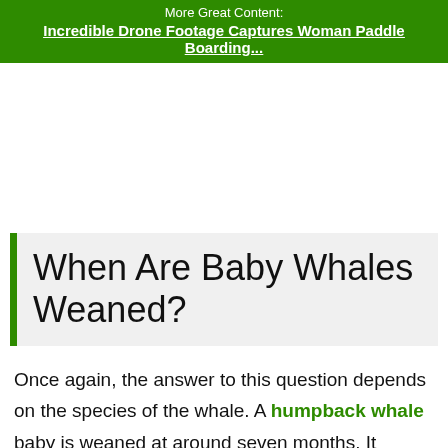More Great Content:
Incredible Drone Footage Captures Woman Paddle Boarding...
When Are Baby Whales Weaned?
Once again, the answer to this question depends on the species of the whale. A humpback whale baby is weaned at around seven months. It begins to eat small fish and other sea creatures. Alternatively, a beluga whale baby starts to eat